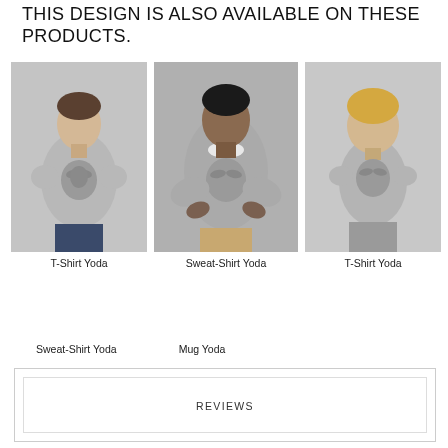THIS DESIGN IS ALSO AVAILABLE ON THESE PRODUCTS.
[Figure (photo): Person wearing a grey T-Shirt with Yoda design]
[Figure (photo): Person wearing a grey Sweat-Shirt with Yoda design]
[Figure (photo): Child wearing a grey T-Shirt with Yoda design]
T-Shirt Yoda
Sweat-Shirt Yoda
T-Shirt Yoda
Sweat-Shirt Yoda
Mug Yoda
REVIEWS